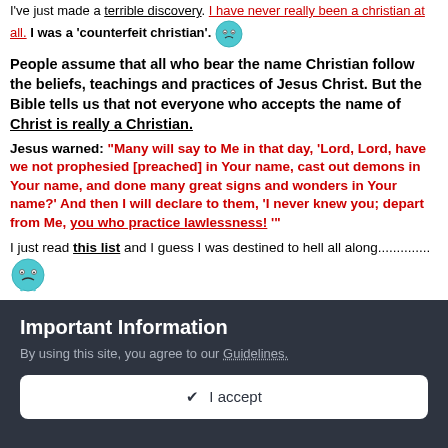I've just made a terrible discovery. I have never really been a christian at all. I was a 'counterfeit christian'. 😯
People assume that all who bear the name Christian follow the beliefs, teachings and practices of Jesus Christ. But the Bible tells us that not everyone who accepts the name of Christ is really a Christian.
Jesus warned: "Many will say to Me in that day, 'Lord, Lord, have we not prophesied [preached] in Your name, cast out demons in Your name, and done many great signs and wonders in Your name?' And then I will declare to them, 'I never knew you; depart from Me, you who practice lawlessness! '"
I just read this list and I guess I was destined to hell all along.............. 😟
I didn't even pass # 1......
😯
I didn't pass 98% of them!!
Important Information
By using this site, you agree to our Guidelines.
✔ I accept